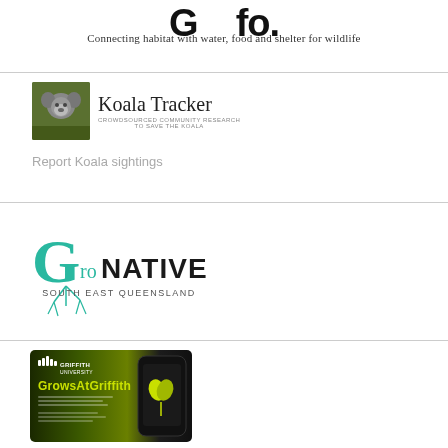[Figure (logo): Partial logo at top with tagline 'Connecting habitat with water, food and shelter for wildlife']
Connecting habitat with water, food and shelter for wildlife
[Figure (logo): Koala Tracker logo — photo of koala with text 'Koala Tracker / CROWDSOURCED COMMUNITY RESEARCH TO SAVE THE KOALA']
Report Koala sightings
[Figure (logo): GroNative South East Queensland logo in teal/green with stylized G and roots]
[Figure (screenshot): GrowsAtGriffith app screenshot showing Griffith University branding, green leaf icon on dark background]